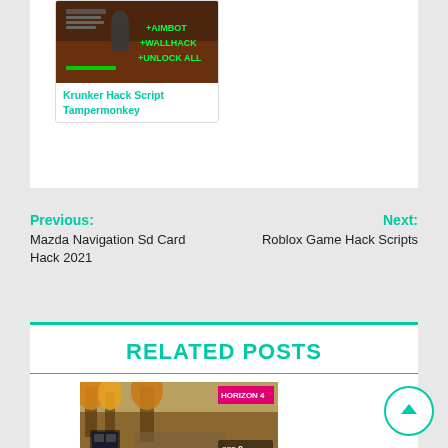[Figure (screenshot): Screenshot of Krunker game with hacks overlay showing +AIMBOT +WALLHACK +UNLOCK ALL]
Krunker Hack Script Tampermonkey
Previous: Mazda Navigation Sd Card Hack 2021
Next: Roblox Game Hack Scripts
RELATED POSTS
[Figure (screenshot): Forza Horizon 4 screenshot showing autumn scenery with HORIZON 4 badge]